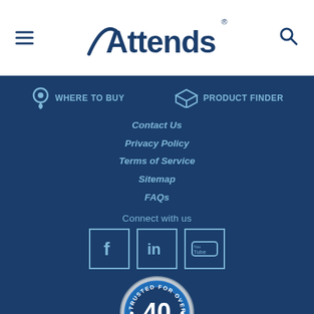Attends
WHERE TO BUY
PRODUCT FINDER
Contact Us
Privacy Policy
Terms of Service
Sitemap
FAQs
Connect with us
[Figure (logo): Trusted for over 40 years badge/seal]
[Figure (logo): Facebook, LinkedIn, YouTube social media icon boxes]